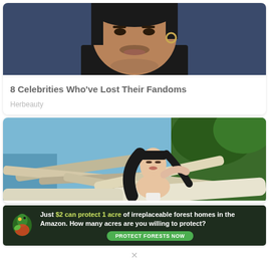[Figure (photo): Close-up photo of a male celebrity with dark hair, hoop earring, dark clothing, against a dark blue background]
8 Celebrities Who've Lost Their Fandoms
Herbeauty
[Figure (photo): Woman with long dark hair posing among driftwood logs on a beach with greenery in the background]
[Figure (infographic): Advertisement banner: Just $2 can protect 1 acre of irreplaceable forest homes in the Amazon. How many acres are you willing to protect? Button: PROTECT FORESTS NOW]